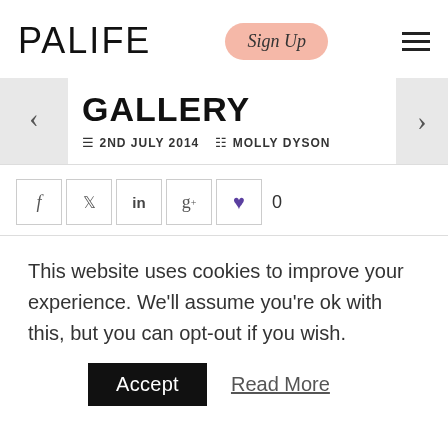PALIFE | Sign Up | hamburger menu
GALLERY
2ND JULY 2014   MOLLY DYSON
[Figure (other): Social share buttons row: Facebook, Twitter, LinkedIn, Google+, Heart/like button, like count 0]
This website uses cookies to improve your experience. We'll assume you're ok with this, but you can opt-out if you wish.
Accept   Read More